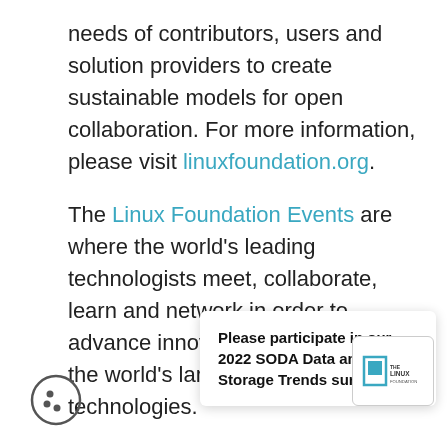needs of contributors, users and solution providers to create sustainable models for open collaboration. For more information, please visit linuxfoundation.org.
The Linux Foundation Events are where the world's leading technologists meet, collaborate, learn and network in order to advance innovations that support the world's largest shared technologies.
Visit our website, Twitter, Linkedin, and Facebook to learn about event updates
Please participate in our 2022 SODA Data and Storage Trends survey!
[Figure (logo): The Linux Foundation logo in a white rounded box]